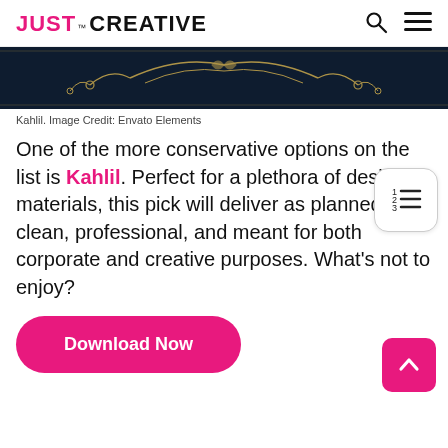JUST™ CREATIVE
[Figure (illustration): Dark navy background with gold ornamental flourish design, decorative border pattern.]
Kahlil. Image Credit: Envato Elements
One of the more conservative options on the list is Kahlil. Perfect for a plethora of design materials, this pick will deliver as planned. It's clean, professional, and meant for both corporate and creative purposes. What's not to enjoy?